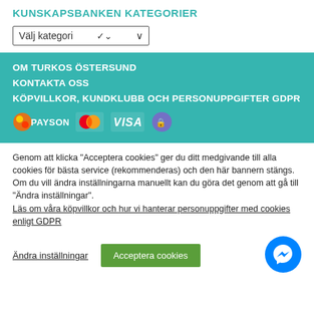KUNSKAPSBANKEN KATEGORIER
Välj kategori
OM TURKOS ÖSTERSUND
KONTAKTA OSS
KÖPVILLKOR, KUNDKLUBB OCH PERSONUPPGIFTER GDPR
[Figure (logo): Payment provider logos: Payson, Mastercard, Visa, and a bank/trust seal]
Genom att klicka "Acceptera cookies" ger du ditt medgivande till alla cookies för bästa service (rekommenderas) och den här bannern stängs.
Om du vill ändra inställningarna manuellt kan du göra det genom att gå till "Ändra inställningar".
Läs om våra köpvillkor och hur vi hanterar personuppgifter med cookies enligt GDPR
Ändra inställningar
Acceptera cookies